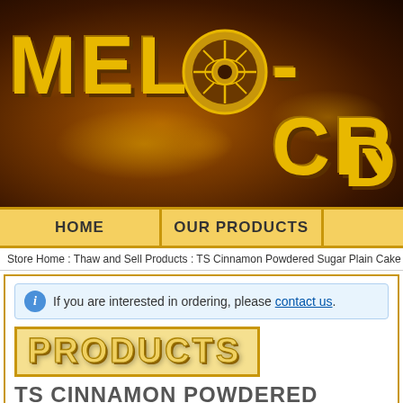[Figure (illustration): MEL-O-CR brand banner with golden text on dark brown background with logo emblem in center]
HOME | OUR PRODUCTS |
Store Home : Thaw and Sell Products : TS Cinnamon Powdered Sugar Plain Cake
If you are interested in ordering, please contact us.
PRODUCTS
TS CINNAMON POWDERED SUGAR PLAIN